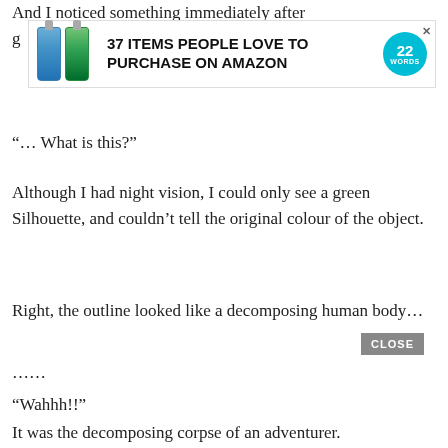And I noticed something immediately after g
[Figure (infographic): Advertisement banner: '37 ITEMS PEOPLE LOVE TO PURCHASE ON AMAZON' with product bottles on left and 22 Words logo on right, with X close button]
“… What is this?”
Although I had night vision, I could only see a green Silhouette, and couldn’t tell the original colour of the object.
Right, the outline looked like a decomposing human body…
……
“Wahhh!!”
It was the decomposing corpse of an adventurer.